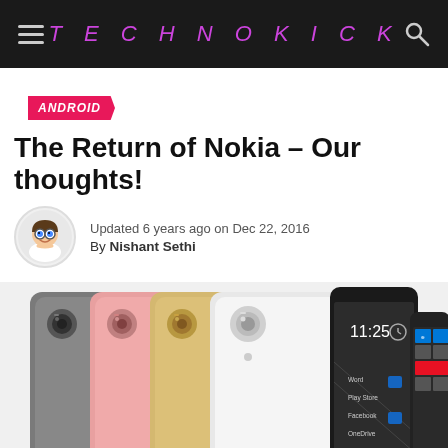TECHNOKICK
ANDROID
The Return of Nokia – Our thoughts!
Updated 6 years ago on Dec 22, 2016
By Nishant Sethi
[Figure (photo): Promotional image of Nokia smartphones showing multiple color variants from the back (grey, pink, gold, white) alongside front view of an Android phone showing a lock screen with time 11:25, and a Windows phone interface.]